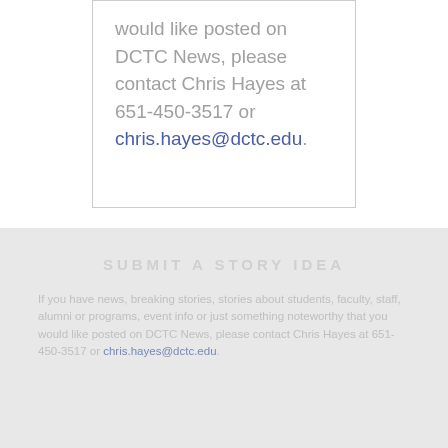would like posted on DCTC News, please contact Chris Hayes at 651-450-3517 or chris.hayes@dctc.edu.
SUBMIT A STORY IDEA
If you have news, breaking stories, stories about students, faculty, staff, alumni or programs, event info or just something noteworthy that you would like posted on DCTC News, please contact Chris Hayes at 651-450-3517 or chris.hayes@dctc.edu.